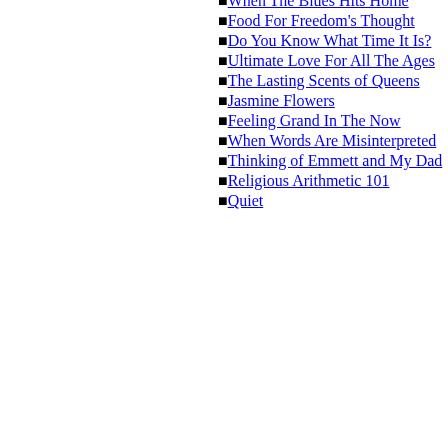When The Blues Hits Home
Food For Freedom's Thought
Do You Know What Time It Is?
Ultimate Love For All The Ages
The Lasting Scents of Queens
Jasmine Flowers
Feeling Grand In The Now
When Words Are Misinterpreted
Thinking of Emmett and My Dad
Religious Arithmetic 101
Quiet